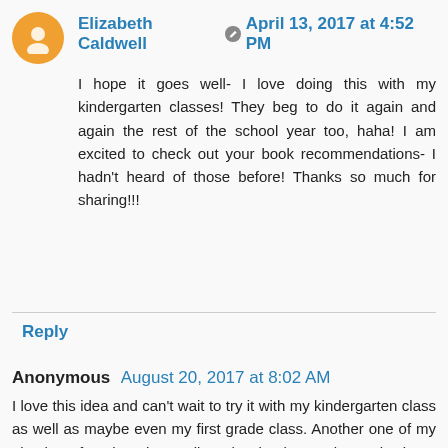Elizabeth Caldwell  April 13, 2017 at 4:52 PM
I hope it goes well- I love doing this with my kindergarten classes! They beg to do it again and again the rest of the school year too, haha! I am excited to check out your book recommendations- I hadn't heard of those before! Thanks so much for sharing!!!
Reply
Anonymous  August 20, 2017 at 8:02 AM
I love this idea and can't wait to try it with my kindergarten class as well as maybe even my first grade class. Another one of my absolute favorites is reading the book Hand Hand Finger Thumb by Dr. Suess. I read it in the rhythm of the story and the kids naturally start to tap their laps or feet to the steady beat and then we add drums and or different instruments. They LOVE this lesson. I actually found it on